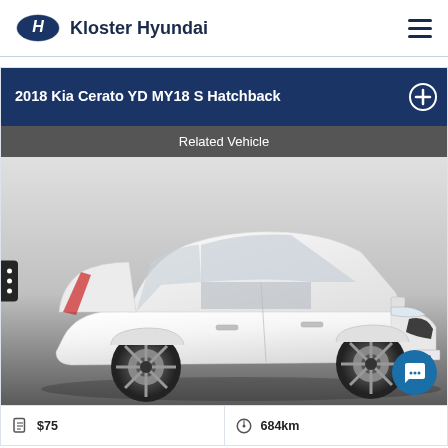Kloster Hyundai
2018 Kia Cerato YD MY18 S Hatchback
Related Vehicle
[Figure (photo): White 2018 Kia Cerato YD MY18 S Hatchback photographed at a three-quarter front angle in a studio setting with grey background]
$75
684km